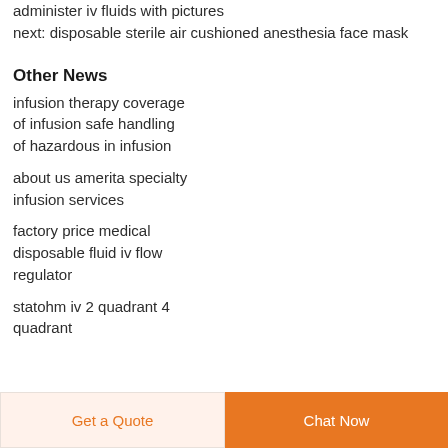administer iv fluids with pictures next: disposable sterile air cushioned anesthesia face mask
Other News
infusion therapy coverage
of infusion safe handling
of hazardous in infusion
about us amerita specialty infusion services
factory price medical disposable fluid iv flow regulator
statohm iv 2 quadrant 4 quadrant